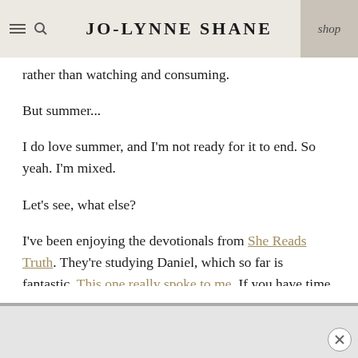JO-LYNNE SHANE | shop
rather than watching and consuming.
But summer...
I do love summer, and I'm not ready for it to end. So yeah. I'm mixed.
Let's see, what else?
I've been enjoying the devotionals from She Reads Truth. They're studying Daniel, which so far is fantastic. This one really spoke to me. If you have time, click over and read it.